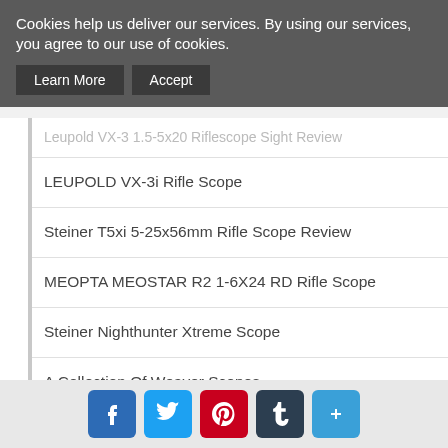Cookies help us deliver our services. By using our services, you agree to our use of cookies.
LEUPOLD VX-3i Rifle Scope
Steiner T5xi 5-25x56mm Rifle Scope Review
MEOPTA MEOSTAR R2 1-6X24 RD Rifle Scope
Steiner Nighthunter Xtreme Scope
A Collection Of Weaver Scopes
Bushnell's New Trophy and Rimfire Optics Scopes
Nightforce ATACR TReMoR3 Reticle Advanced Tactical Rifle Scope Review
A Comparative Review Illuminated MIL DOT Reticle Rifle